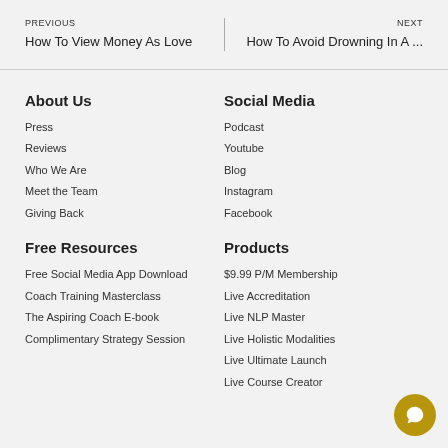PREVIOUS
How To View Money As Love
NEXT
How To Avoid Drowning In A ...
About Us
Press
Reviews
Who We Are
Meet the Team
Giving Back
Social Media
Podcast
Youtube
Blog
Instagram
Facebook
Free Resources
Free Social Media App Download
Coach Training Masterclass
The Aspiring Coach E-book
Complimentary Strategy Session
Products
$9.99 P/M Membership
Live Accreditation
Live NLP Master
Live Holistic Modalities
Live Ultimate Launch
Live Course Creator